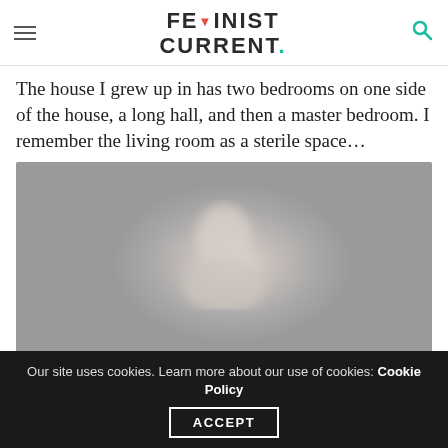FEMINIST CURRENT
The house I grew up in has two bedrooms on one side of the house, a long hall, and then a master bedroom. I remember the living room as a sterile space…
[Figure (photo): Blurred/soft-focus photograph showing a human figure or form against a grey background]
Our site uses cookies. Learn more about our use of cookies: Cookie Policy ACCEPT